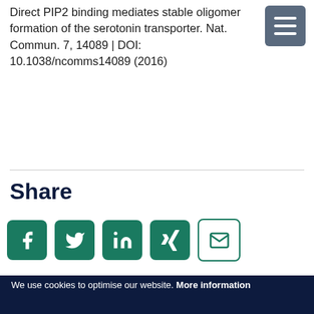Direct PIP2 binding mediates stable oligomer formation of the serotonin transporter. Nat. Commun. 7, 14089 | DOI: 10.1038/ncomms14089 (2016)
Share
[Figure (infographic): Row of social media share buttons: Facebook (f), Twitter (bird), LinkedIn (in), Xing (X), Email (envelope), all with teal/green rounded square backgrounds]
We use cookies to optimise our website. More information
ACCEPT ALL COOKIES
No, choose individual preferences